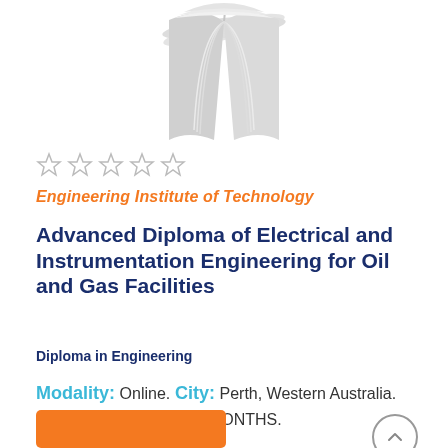[Figure (illustration): Open book icon in light gray/white tones at top of page]
[Figure (other): Five empty star rating icons (unrated)]
Engineering Institute of Technology
Advanced Diploma of Electrical and Instrumentation Engineering for Oil and Gas Facilities
Diploma in Engineering
Modality: Online. City: Perth, Western Australia. Program Length: 18 MONTHS.
[Figure (other): Scroll-to-top circular arrow button (chevron up icon)]
[Figure (other): Orange button (partially visible at bottom)]